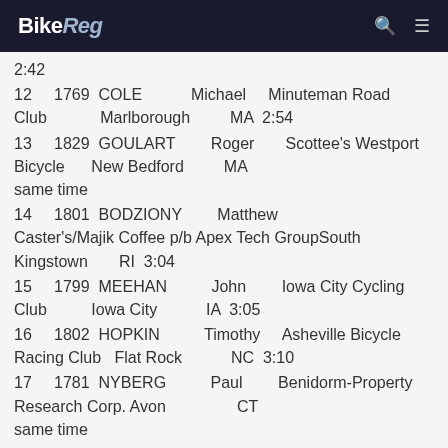BikeReg
2:42
12   1769  COLE   Michael   Minuteman Road Club   Marlborough   MA  2:54
13   1829  GOULART   Roger   Scottee's Westport Bicycle   New Bedford   MA  same time
14   1801  BODZIONY   Matthew   Caster's/Majik Coffee p/b Apex Tech GroupSouth Kingstown   RI  3:04
15   1799  MEEHAN   John   Iowa City Cycling Club   Iowa City   IA  3:05
16   1802  HOPKIN   Timothy   Asheville Bicycle Racing Club   Flat Rock   NC  3:10
17   1781  NYBERG   Paul   Benidorm-Property Research Corp.   Avon   CT  same time
18   1761  ROBERTS   Bradley S   putney